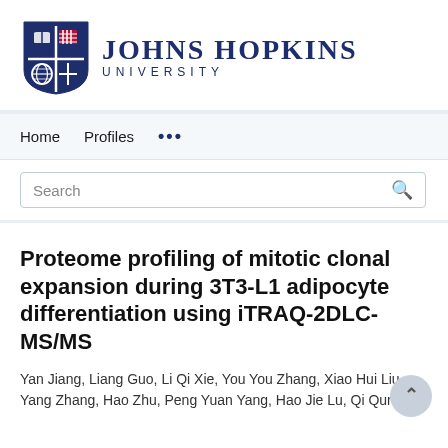[Figure (logo): Johns Hopkins University logo with shield and wordmark]
Home   Profiles   ...
Search
Proteome profiling of mitotic clonal expansion during 3T3-L1 adipocyte differentiation using iTRAQ-2DLC-MS/MS
Yan Jiang, Liang Guo, Li Qi Xie, You You Zhang, Xiao Hui Liu, Yang Zhang, Hao Zhu, Peng Yuan Yang, Hao Jie Lu, Qi Qun